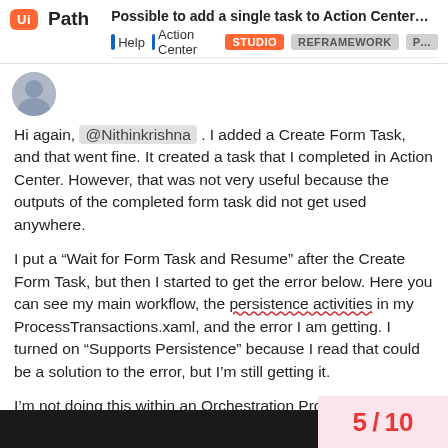Possible to add a single task to Action Center...
Help | Action Center | STUDIO | REFRAMEWORK | P...
Hi again, @Nithinkrishna . I added a Create Form Task, and that went fine. It created a task that I completed in Action Center. However, that was not very useful because the outputs of the completed form task did not get used anywhere.
I put a “Wait for Form Task and Resume” after the Create Form Task, but then I started to get the error below. Here you can see my main workflow, the persistence activities in my ProcessTransactions.xaml, and the error I am getting. I turned on “Supports Persistence” because I read that could be a solution to the error, but I’m still getting it.
I’m not doing this within an Orchestration Process, just a regular process I created.
Thanks for your help.
5 / 10